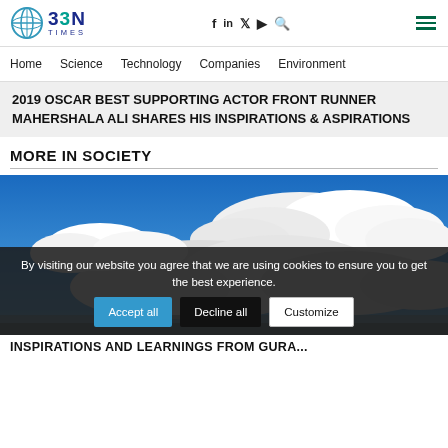BBN TIMES | Home Science Technology Companies Environment | [social icons]
2019 OSCAR BEST SUPPORTING ACTOR FRONT RUNNER MAHERSHALA ALI SHARES HIS INSPIRATIONS & ASPIRATIONS
MORE IN SOCIETY
[Figure (photo): Bright blue sky with large white cumulus clouds]
By visiting our website you agree that we are using cookies to ensure you to get the best experience.
INSPIRATIONS AND LEARNINGS FROM GURA...